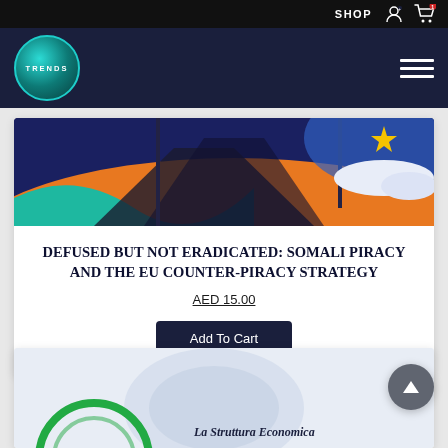SHOP
[Figure (logo): TRENDS circular logo with teal gradient on dark navy background]
[Figure (illustration): Book cover image showing flags with orange, teal and blue design with a star]
DEFUSED BUT NOT ERADICATED: SOMALI PIRACY AND THE EU COUNTER-PIRACY STRATEGY
AED 15.00
Add To Cart
[Figure (illustration): Partially visible second book cover - La Struttura Economica with circular green logo and light blue/grey background]